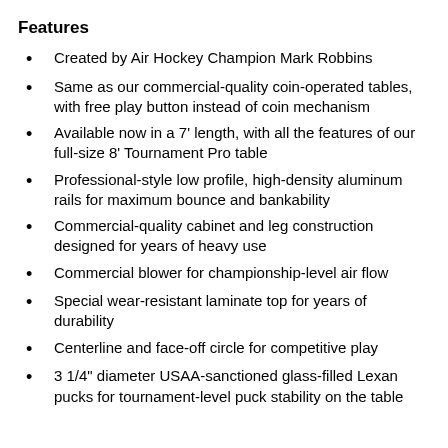Features
Created by Air Hockey Champion Mark Robbins
Same as our commercial-quality coin-operated tables, with free play button instead of coin mechanism
Available now in a 7' length, with all the features of our full-size 8' Tournament Pro table
Professional-style low profile, high-density aluminum rails for maximum bounce and bankability
Commercial-quality cabinet and leg construction designed for years of heavy use
Commercial blower for championship-level air flow
Special wear-resistant laminate top for years of durability
Centerline and face-off circle for competitive play
3 1/4" diameter USAA-sanctioned glass-filled Lexan pucks for tournament-level puck stability on the table